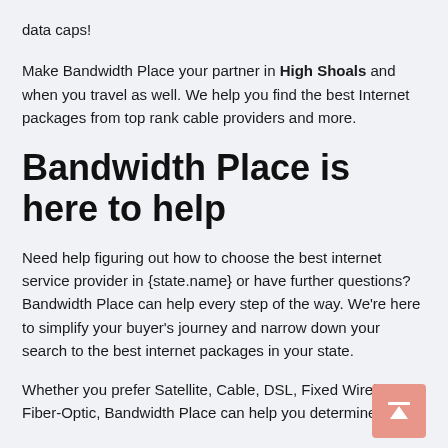data caps!
Make Bandwidth Place your partner in High Shoals and when you travel as well. We help you find the best Internet packages from top rank cable providers and more.
Bandwidth Place is here to help
Need help figuring out how to choose the best internet service provider in {state.name} or have further questions? Bandwidth Place can help every step of the way. We're here to simplify your buyer's journey and narrow down your search to the best internet packages in your state.
Whether you prefer Satellite, Cable, DSL, Fixed Wireless, or Fiber-Optic, Bandwidth Place can help you determine